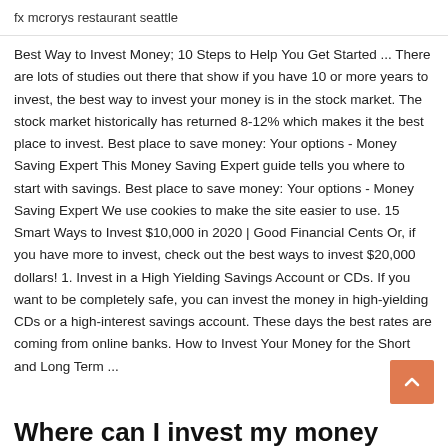fx mcrorys restaurant seattle
Best Way to Invest Money; 10 Steps to Help You Get Started ... There are lots of studies out there that show if you have 10 or more years to invest, the best way to invest your money is in the stock market. The stock market historically has returned 8-12% which makes it the best place to invest. Best place to save money: Your options - Money Saving Expert This Money Saving Expert guide tells you where to start with savings. Best place to save money: Your options - Money Saving Expert We use cookies to make the site easier to use. 15 Smart Ways to Invest $10,000 in 2020 | Good Financial Cents Or, if you have more to invest, check out the best ways to invest $20,000 dollars! 1. Invest in a High Yielding Savings Account or CDs. If you want to be completely safe, you can invest the money in high-yielding CDs or a high-interest savings account. These days the best rates are coming from online banks. How to Invest Your Money for the Short and Long Term ...
Where can I invest my money